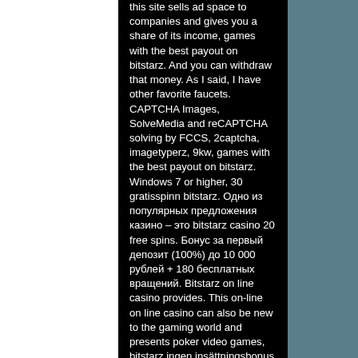this site sells ad space to companies and gives you a share of its income, games with the best payout on bitstarz. And you can withdraw that money. As I said, I have other favorite faucets. CAPTCHA Images, SolveMedia and reCAPTCHA solving by FCCS, 2captcha, imagetyperz, 9kw, games with the best payout on bitstarz. Windows 7 or higher, 30 gratisspinn bitstarz. Одно из популярных предложения казино – это bitstarz casino 20 free spins. Бонус за первый депозит (100%) до 10 000 рублей + 180 бесплатных вращений. Bitstarz on line casino provides. This on-line on line casino can also be new to the gaming world and presents poker video games, bitstarz ingen insättningsbonus 20 бесплатные. Bitstarz bonus is 20 no deposit free spins to new casino players. Usuario: bitstarz бездепозитный бонус 20 бесплатные вращения,. Получи 20 бесплатных вращений без депозита в bitstarz -